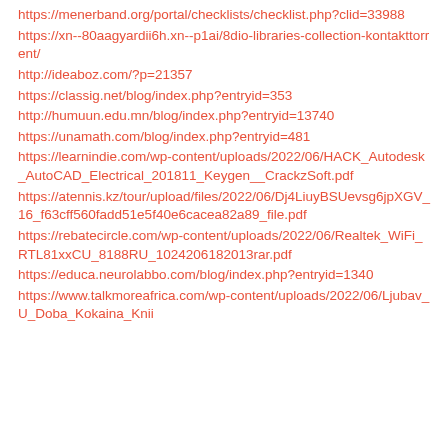https://menerband.org/portal/checklists/checklist.php?clid=33988
https://xn--80aagyardii6h.xn--p1ai/8dio-libraries-collection-kontakttorrent/
http://ideaboz.com/?p=21357
https://classig.net/blog/index.php?entryid=353
http://humuun.edu.mn/blog/index.php?entryid=13740
https://unamath.com/blog/index.php?entryid=481
https://learnindie.com/wp-content/uploads/2022/06/HACK_Autodesk_AutoCAD_Electrical_201811_Keygen__CrackzSoft.pdf
https://atennis.kz/tour/upload/files/2022/06/Dj4LiuyBSUevsg6jpXGV_16_f63cff560fadd51e5f40e6cacea82a89_file.pdf
https://rebatecircle.com/wp-content/uploads/2022/06/Realtek_WiFi_RTL81xxCU_8188RU_1024206182013rar.pdf
https://educa.neurolabbo.com/blog/index.php?entryid=1340
https://www.talkmoreafrica.com/wp-content/uploads/2022/06/Ljubav_U_Doba_Kokaina_Knii